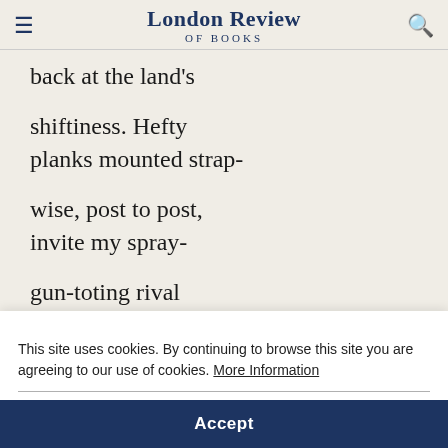London Review of Books
back at the land's
shiftiness. Hefty
planks mounted strap-
wise, post to post,
invite my spray-
gun-toting rival
to sign A-F-R-I-K-A
P-O-E-T-92
who will have caught
up with himself
at the next bend
This site uses cookies. By continuing to browse this site you are agreeing to our use of cookies. More Information
Accept